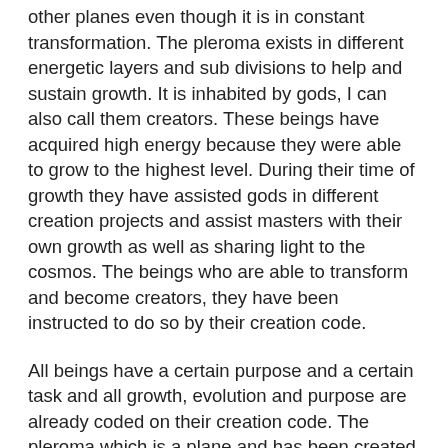other planes even though it is in constant transformation. The pleroma exists in different energetic layers and sub divisions to help and sustain growth. It is inhabited by gods, I can also call them creators. These beings have acquired high energy because they were able to grow to the highest level. During their time of growth they have assisted gods in different creation projects and assist masters with their own growth as well as sharing light to the cosmos. The beings who are able to transform and become creators, they have been instructed to do so by their creation code.
All beings have a certain purpose and a certain task and all growth, evolution and purpose are already coded on their creation code. The pleroma which is a plane and has been created before all other creation, is inhabited by many gods. Our source connects to all those gods in order to create life and maintain creation. We are its instruments and as its creation is expanding the pleroma is expanding too. We have a high duty and it can be shared by many creators co-creating in the same space. The pleroma is growing when we have a greater number of high creators sharing the light and working for the common goal. Masters are beings who have achieved high growth and they are often teachers or responsible for certain areas of growth in the astral plane. Most masters do not become gods but they focus